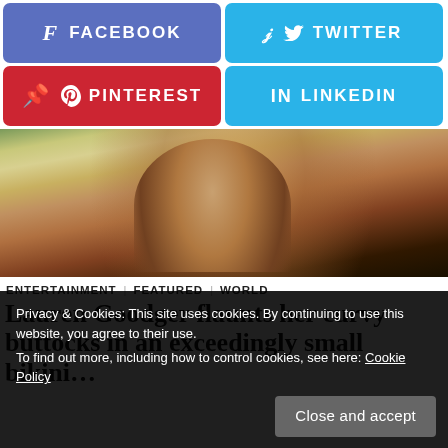[Figure (other): Facebook share button (blue-purple rounded rectangle with f icon and FACEBOOK text)]
[Figure (other): Twitter share button (light blue rounded rectangle with bird icon and TWITTER text)]
[Figure (other): Pinterest share button (red rounded rectangle with P icon and PINTEREST text)]
[Figure (other): LinkedIn share button (light blue rounded rectangle with in icon and LINKEDIN text)]
[Figure (photo): Partial photo of a woman in a black bikini, outdoors, poolside or patio area]
ENTERTAINMENT   FEATURED   WORLD
Lauren Goodger flaunts her curvy buttocks in an exceedingly small bikini…
Privacy & Cookies: This site uses cookies. By continuing to use this website, you agree to their use.
To find out more, including how to control cookies, see here: Cookie Policy
Close and accept